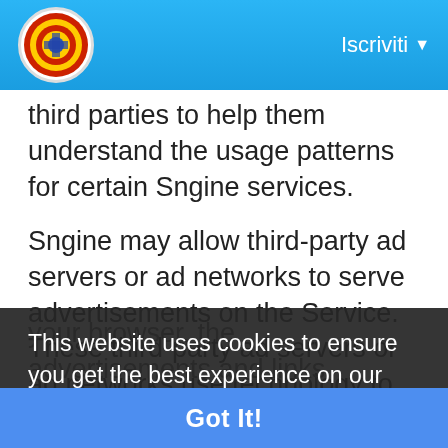Iscriviti
third parties to help them understand the usage patterns for certain Sngine services.
Sngine may allow third-party ad servers or ad networks to serve advertisements on the Service. These third-party ad servers or ad networks use technology to send, directly to your browser, the advertisements and links that appear on the Service. They automatically receive your IP address when this happens. They may also use other technologies (such as cookies, JavaScript, or web beacons) to measure the effectiveness of their advertising campaigns and to personalize the advertising content.
This website uses cookies to ensure you get the best experience on our website
Learn More
Got It!